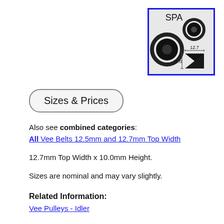[Figure (photo): SPA V-belt product photo showing black V-belt rings with dimensional annotations: 12.7mm top width and 10.0mm height, labeled 'SPA' at top]
Sizes & Prices
Also see combined categories:
All Vee Belts 12.5mm and 12.7mm Top Width
12.7mm Top Width x 10.0mm Height.
Sizes are nominal and may vary slightly.
Related Information:
Vee Pulleys - Idler